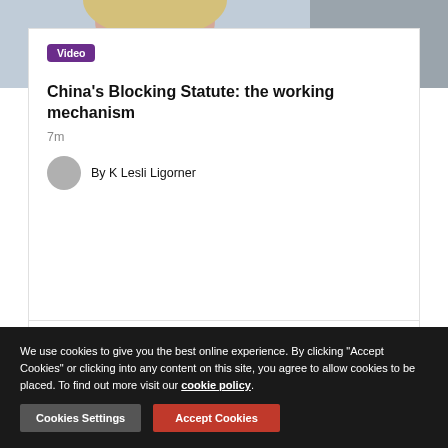[Figure (photo): Partial photo of a person with blonde hair and a smile, light blue background. A purple 'Video' badge overlays the bottom left.]
China's Blocking Statute: the working mechanism
7m
By K Lesli Ligorner
[Figure (logo): Morgan Lewis logo text centered in lower card section]
We use cookies to give you the best online experience. By clicking "Accept Cookies" or clicking into any content on this site, you agree to allow cookies to be placed. To find out more visit our cookie policy.
Cookies Settings
Accept Cookies